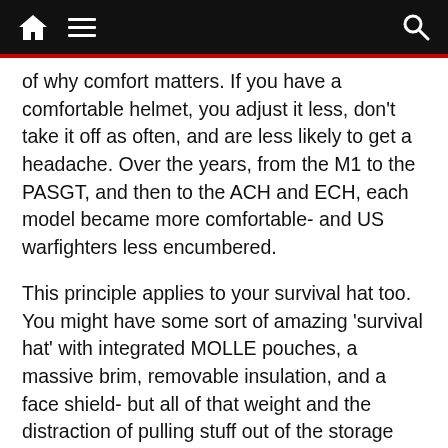Navigation bar with home, menu, and search icons
of why comfort matters. If you have a comfortable helmet, you adjust it less, don't take it off as often, and are less likely to get a headache. Over the years, from the M1 to the PASGT, and then to the ACH and ECH, each model became more comfortable- and US warfighters less encumbered.
This principle applies to your survival hat too. You might have some sort of amazing 'survival hat' with integrated MOLLE pouches, a massive brim, removable insulation, and a face shield- but all of that weight and the distraction of pulling stuff out of the storage pouches is going to cause you to wear the hat less.
And what's the point of a hat, if you're not wearing it?